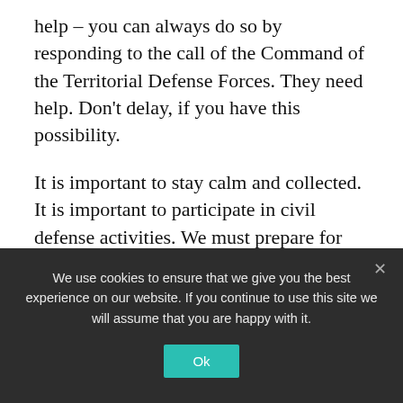help – you can always do so by responding to the call of the Command of the Territorial Defense Forces. They need help. Don't delay, if you have this possibility.
It is important to stay calm and collected. It is important to participate in civil defense activities. We must prepare for the possible self-defense of neighborhoods and streets, and watch out for provocateurs.
Ukrainians are proving to themselves, and to the world, a serious and determined readiness to
We use cookies to ensure that we give you the best experience on our website. If you continue to use this site we will assume that you are happy with it.